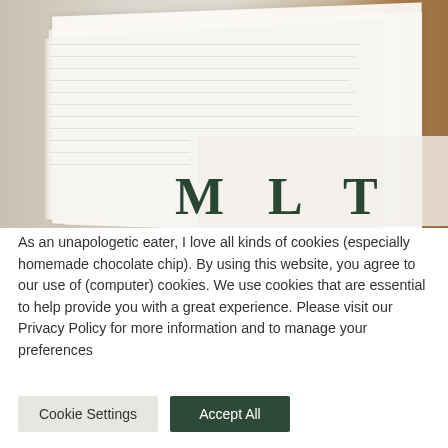[Figure (photo): Blurred photo of open books/pages fanning out, warm background with brownish tones on right side. Large serif letters M, L, T partially visible at bottom of photo. A semi-transparent white box overlays part of the image.]
As an unapologetic eater, I love all kinds of cookies (especially homemade chocolate chip). By using this website, you agree to our use of (computer) cookies. We use cookies that are essential to help provide you with a great experience. Please visit our Privacy Policy for more information and to manage your preferences
Cookie Settings
Accept All